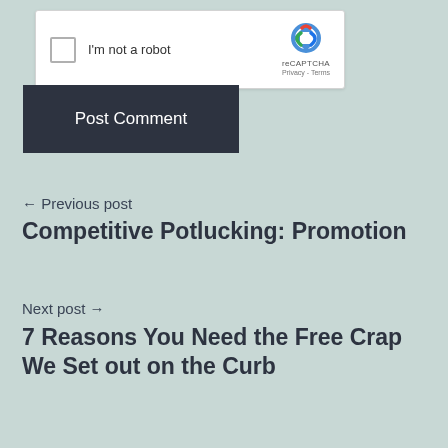[Figure (screenshot): reCAPTCHA widget with checkbox labeled 'I'm not a robot' and reCAPTCHA logo with Privacy - Terms links]
[Figure (screenshot): Dark navy 'Post Comment' button]
← Previous post
Competitive Potlucking: Promotion
Next post →
7 Reasons You Need the Free Crap We Set out on the Curb